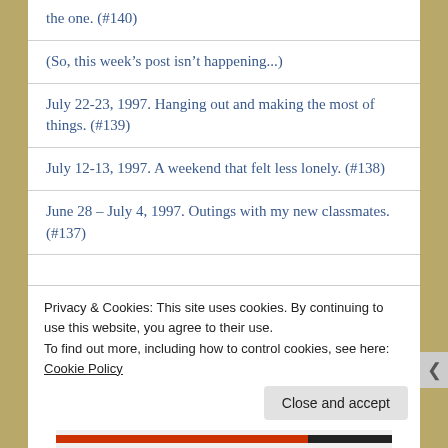the one. (#140)
(So, this week’s post isn’t happening...)
July 22-23, 1997. Hanging out and making the most of things. (#139)
July 12-13, 1997. A weekend that felt less lonely. (#138)
June 28 – July 4, 1997. Outings with my new classmates. (#137)
Privacy & Cookies: This site uses cookies. By continuing to use this website, you agree to their use.
To find out more, including how to control cookies, see here: Cookie Policy